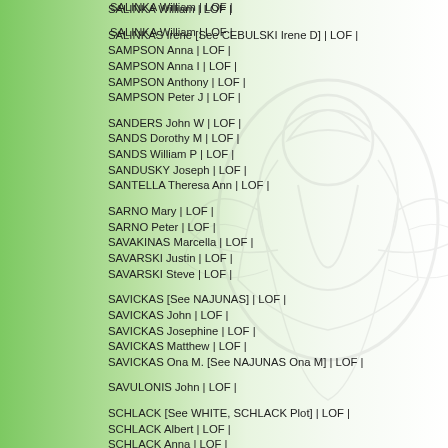SALINKA William | LOF |
SALINKAS Irene [See CEBULSKI Irene D] | LOF |
SAMPSON Anna | LOF |
SAMPSON Anna I | LOF |
SAMPSON Anthony | LOF |
SAMPSON Peter J | LOF |
SANDERS John W | LOF |
SANDS Dorothy M | LOF |
SANDS William P | LOF |
SANDUSKY Joseph | LOF |
SANTELLA Theresa Ann | LOF |
SARNO Mary | LOF |
SARNO Peter | LOF |
SAVAKINAS Marcella | LOF |
SAVARSKI Justin | LOF |
SAVARSKI Steve | LOF |
SAVICKAS [See NAJUNAS] | LOF |
SAVICKAS John | LOF |
SAVICKAS Josephine | LOF |
SAVICKAS Matthew | LOF |
SAVICKAS Ona M. [See NAJUNAS Ona M] | LOF |
SAVULONIS John | LOF |
SCHLACK [See WHITE, SCHLACK Plot] | LOF |
SCHLACK Albert | LOF |
SCHLACK Anna | LOF |